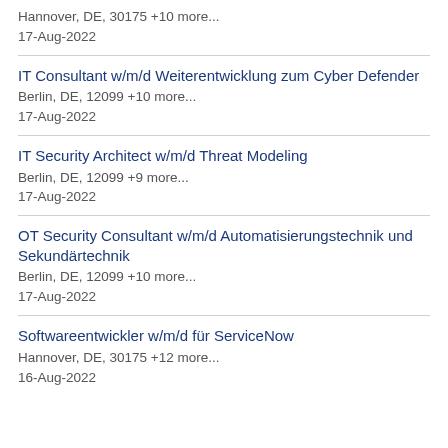Hannover, DE, 30175 +10 more...
17-Aug-2022
IT Consultant w/m/d Weiterentwicklung zum Cyber Defender
Berlin, DE, 12099 +10 more...
17-Aug-2022
IT Security Architect w/m/d Threat Modeling
Berlin, DE, 12099 +9 more...
17-Aug-2022
OT Security Consultant w/m/d Automatisierungstechnik und Sekundärtechnik
Berlin, DE, 12099 +10 more...
17-Aug-2022
Softwareentwickler w/m/d für ServiceNow
Hannover, DE, 30175 +12 more...
16-Aug-2022